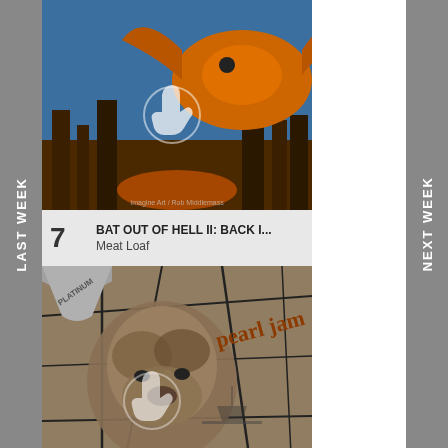LAST WEEK
NEXT WEEK
[Figure (photo): Album cover for Bat Out of Hell II: Back Into Hell by Meat Loaf, showing a dragon over burning cityscape]
7  BAT OUT OF HELL II: BACK I...
Meat Loaf
[Figure (photo): Album cover for VS by Pearl Jam, showing a ram's head against a grid background in sepia tones, with Pearl Jam text in brown, and a Platinum badge]
8  VS
Pearl Jam
[Figure (photo): Partial album cover showing a person with voluminous hair, with a Platinum badge]